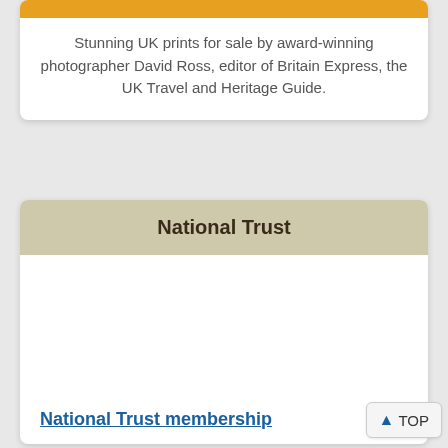Stunning UK prints for sale by award-winning photographer David Ross, editor of Britain Express, the UK Travel and Heritage Guide.
National Trust
National Trust membership